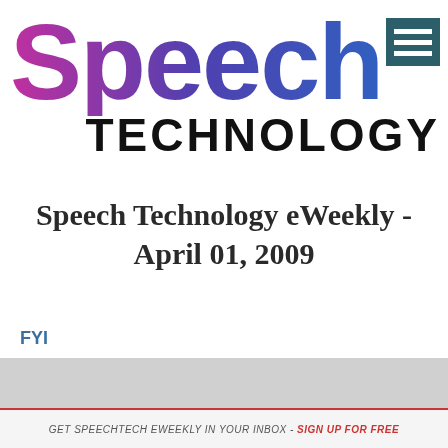[Figure (logo): Speech Technology magazine logo with 'Speech' in large gradient purple/pink text and 'TECHNOLOGY' in bold black letters, with a teal hamburger menu icon]
Speech Technology eWeekly - April 01, 2009
FYI
GET SPEECHTECH EWEEKLY IN YOUR INBOX - SIGN UP FOR FREE